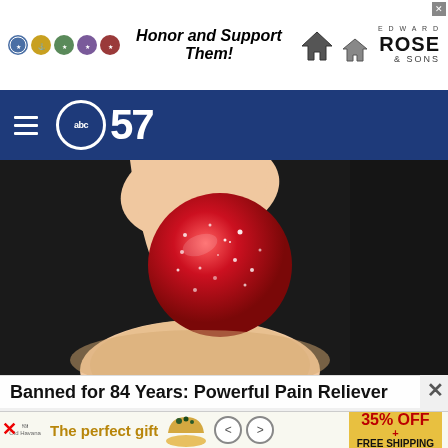[Figure (photo): Advertisement banner for Edward Rose & Sons with military seals and text 'Honor and Support Them!']
abc57 navigation bar with hamburger menu and ABC57 logo
[Figure (photo): Close-up photo of a red sugar-coated candy or pill being held between two fingers against a dark background]
Banned for 84 Years: Powerful Pain Reliever
[Figure (photo): Bottom advertisement: 'The perfect gift' with bowl image, navigation arrows, and '35% OFF + FREE SHIPPING' discount block]